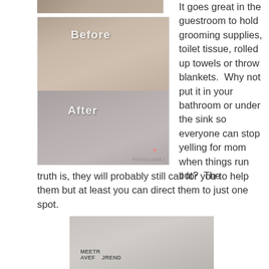[Figure (photo): Partial top photo (cropped), showing a room scene]
[Figure (photo): Before and After collage using PicCollage app showing shoes/clutter before and organized basket after]
It goes great in the guestroom to hold grooming supplies, toilet tissue, rolled up towels or throw blankets.  Why not put it in your bathroom or under the sink so everyone can stop yelling for mom when things run out?  The truth is, they will probably still call for you to help them but at least you can direct them to just one spot.
[Figure (photo): Bottom photo showing a decorative basket or container with magazines/items in it, partially visible]